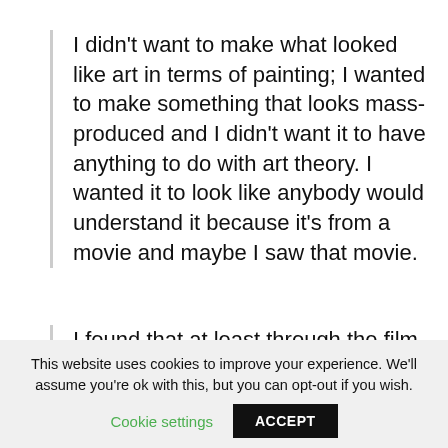I didn't want to make what looked like art in terms of painting; I wanted to make something that looks mass-produced and I didn't want it to have anything to do with art theory. I wanted it to look like anybody would understand it because it's from a movie and maybe I saw that movie.
I found that at least through the film stills it was European movies that the wom...
This website uses cookies to improve your experience. We'll assume you're ok with this, but you can opt-out if you wish.
Cookie settings  ACCEPT